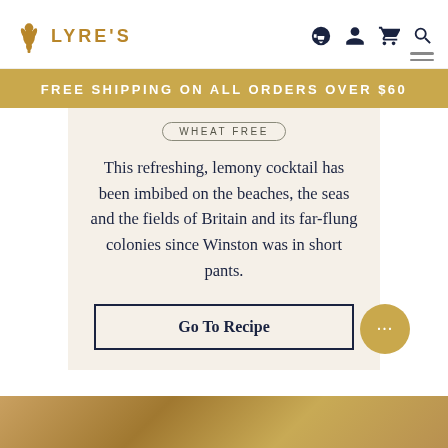LYRE'S
FREE SHIPPING ON ALL ORDERS OVER $60
WHEAT FREE
This refreshing, lemony cocktail has been imbibed on the beaches, the seas and the fields of Britain and its far-flung colonies since Winston was in short pants.
Go To Recipe
[Figure (photo): Bottom strip showing a golden/amber colored beverage or scene]